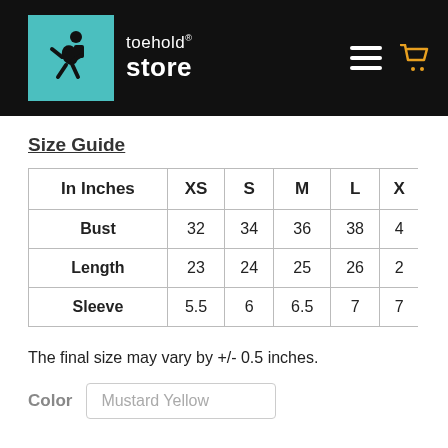[Figure (logo): Toehold Store logo with teal background, person figure silhouette, and white text reading 'toehold store' with navigation icons (hamburger menu and shopping cart) on black header bar]
Size Guide
| In Inches | XS | S | M | L | X |
| --- | --- | --- | --- | --- | --- |
| Bust | 32 | 34 | 36 | 38 | 4 |
| Length | 23 | 24 | 25 | 26 | 2 |
| Sleeve | 5.5 | 6 | 6.5 | 7 | 7 |
The final size may vary by +/- 0.5 inches.
Color   Mustard Yellow